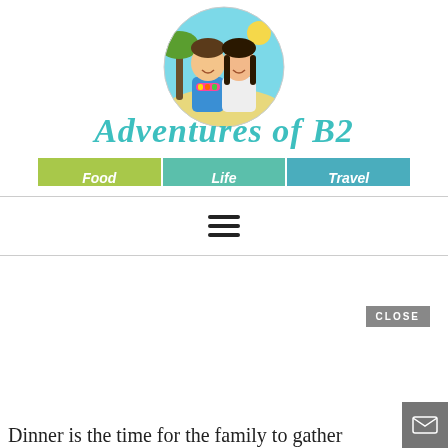[Figure (illustration): Circular cartoon illustration of a couple (man and woman) with tropical background, palm trees and beach colors]
Adventures of B2
Food   Life   Travel
[Figure (other): Hamburger menu icon (three horizontal lines)]
CLOSE
[Figure (other): Mail/envelope icon button]
Dinner is the time for the family to gather